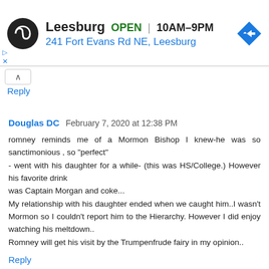[Figure (other): Advertisement banner for a business named Leesburg showing OPEN status, hours 10AM-9PM, address 241 Fort Evans Rd NE Leesburg, store logo (black circle with infinity-like symbol), and a blue navigation diamond icon]
Reply
Douglas DC  February 7, 2020 at 12:38 PM

romney reminds me of a Mormon Bishop I knew-he was so sanctimonious , so "perfect"
- went with his daughter for a while- (this was HS/College.) However his favorite drink
was Captain Morgan and coke...
My relationship with his daughter ended when we caught him..I wasn't Mormon so I couldn't report him to the Hierarchy. However I did enjoy watching his meltdown..
Romney will get his visit by the Trumpenfrude fairy in my opinion..
Reply